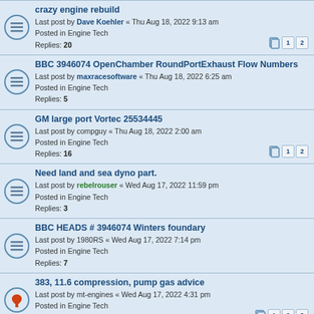crazy engine rebuild
Last post by Dave Koehler « Thu Aug 18, 2022 9:13 am
Posted in Engine Tech
Replies: 20
BBC 3946074 OpenChamber RoundPortExhaust Flow Numbers
Last post by maxracesoftware « Thu Aug 18, 2022 6:25 am
Posted in Engine Tech
Replies: 5
GM large port Vortec 25534445
Last post by compguy « Thu Aug 18, 2022 2:00 am
Posted in Engine Tech
Replies: 16
Need land and sea dyno part.
Last post by rebelrouser « Wed Aug 17, 2022 11:59 pm
Posted in Engine Tech
Replies: 3
BBC HEADS # 3946074 Winters foundary
Last post by 1980RS « Wed Aug 17, 2022 7:14 pm
Posted in Engine Tech
Replies: 7
383, 11.6 compression, pump gas advice
Last post by mt-engines « Wed Aug 17, 2022 4:31 pm
Posted in Engine Tech
Replies: 30
Raising intake port AFR 195 (602 hp 400 sbc)
Last post by cwodgers « Wed Aug 17, 2022 3:50 pm
Posted in Engine Tech